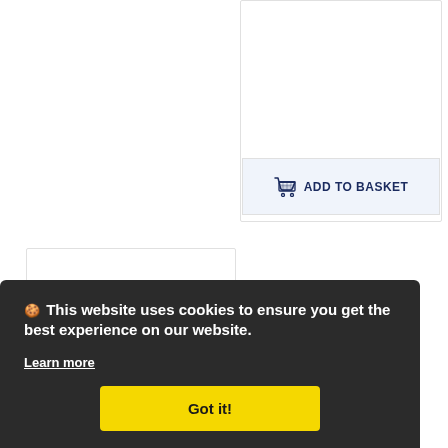[Figure (screenshot): Right product card area - white card with border, top portion visible]
[Figure (screenshot): Add to Basket button with basket icon on light blue background]
[Figure (screenshot): Left product card - white card with border]
TOYRIFIC CHESS AND
DRAUGHTS 2 IN 1 GAME
£20.49 GBP
🍪 This website uses cookies to ensure you get the best experience on our website.
Learn more
Got it!